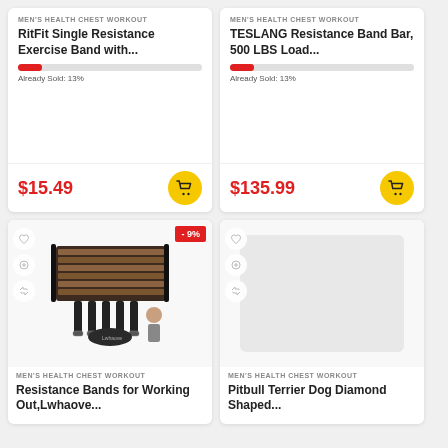MEN'S HEALTH CHEST WORKOUT
RitFit Single Resistance Exercise Band with...
Already Sold: 13%
$15.49
MEN'S HEALTH CHEST WORKOUT
TESLANG Resistance Band Bar, 500 LBS Load...
Already Sold: 13%
$135.99
[Figure (photo): Resistance bands product set with black straps, handles, and carrying bag, with a shirtless man posing]
MEN'S HEALTH CHEST WORKOUT
Resistance Bands for Working Out,Lwhaove...
[Figure (illustration): Empty product image placeholder area with heart, zoom, and shuffle icons on the left side]
MEN'S HEALTH CHEST WORKOUT
Pitbull Terrier Dog Diamond Shaped...